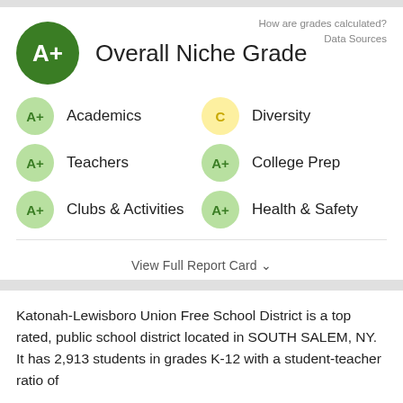How are grades calculated?
Data Sources
Overall Niche Grade
A+ Academics
C Diversity
A+ Teachers
A+ College Prep
A+ Clubs & Activities
A+ Health & Safety
View Full Report Card
Katonah-Lewisboro Union Free School District is a top rated, public school district located in SOUTH SALEM, NY. It has 2,913 students in grades K-12 with a student-teacher ratio of